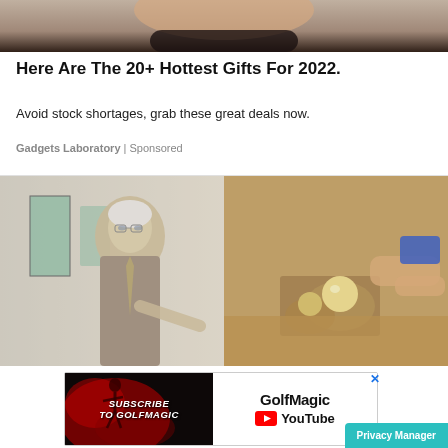[Figure (photo): Close-up photo strip at top showing hands holding a circular object, dark and skin-toned colors]
Here Are The 20+ Hottest Gifts For 2022.
Avoid stock shortages, grab these great deals now.
Gadgets Laboratory | Sponsored
[Figure (photo): Side-by-side composite photo: left side shows an elderly man in suit with glasses in a medical corridor; right side shows hands holding and working with small round objects (possible dental impression or similar)]
[Figure (screenshot): GolfMagic YouTube subscription banner advertisement with red splatter background on left side with text SUBSCRIBE TO GOLFMAGIC, and white right side with GolfMagic YouTube logo text]
Privacy Manager